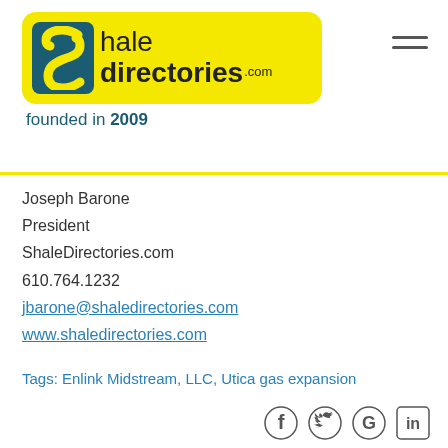[Figure (logo): ShaleDirectories.com logo with yellow background, teal S icon, and 'founded in 2009' tagline]
Joseph Barone
President
ShaleDirectories.com
610.764.1232
jbarone@shaledirectories.com
www.shaledirectories.com
Tags: Enlink Midstream, LLC, Utica gas expansion
[Figure (other): Social media icons: Facebook, Twitter, Google, LinkedIn]